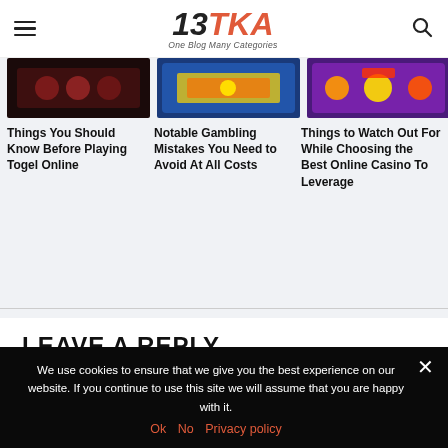13TKA — One Blog Many Categories
[Figure (photo): Dark background image, likely gambling/entertainment]
[Figure (photo): Colorful slot machine or casino game image]
[Figure (photo): Colorful cartoon-style online casino game image]
Things You Should Know Before Playing Togel Online
Notable Gambling Mistakes You Need to Avoid At All Costs
Things to Watch Out For While Choosing the Best Online Casino To Leverage
LEAVE A REPLY
Comment:
We use cookies to ensure that we give you the best experience on our website. If you continue to use this site we will assume that you are happy with it.
Ok   No   Privacy policy